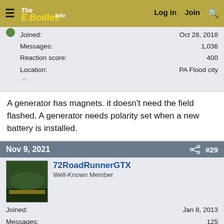The E Bodies Info — Log in Join Search
Joined: Oct 28, 2018
Messages: 1,036
Reaction score: 400
Location: PA Flood city
A generator has magnets. it doesn't need the field flashed. A generator needs polarity set when a new battery is installed.
Nov 9, 2021  #29
72RoadRunnerGTX
Well-Known Member
Joined: Jan 8, 2013
Messages: 125
Reaction score: 60
Location: Shoreline. Washington
Actually, the alternator field supply voltage is sourced via the ignition 1 circuit (blue/trace) in the engine harness, from the bulkhead, ignition switch, splice 1, ammeter, bulkhead again,